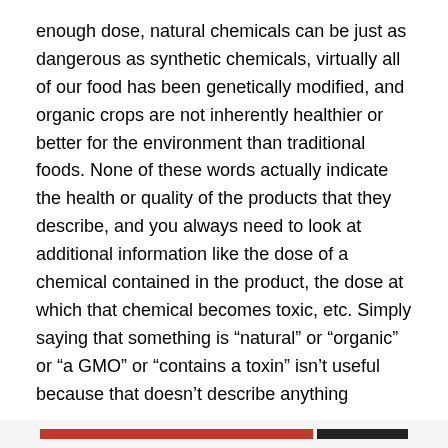enough dose, natural chemicals can be just as dangerous as synthetic chemicals, virtually all of our food has been genetically modified, and organic crops are not inherently healthier or better for the environment than traditional foods. None of these words actually indicate the health or quality of the products that they describe, and you always need to look at additional information like the dose of a chemical contained in the product, the dose at which that chemical becomes toxic, etc. Simply saying that something is “natural” or “organic” or “a GMO” or “contains a toxin” isn’t useful because that doesn’t describe anything
Privacy & Cookies: This site uses cookies. By continuing to use this website, you agree to their use.
To find out more, including how to control cookies, see here: Cookie Policy